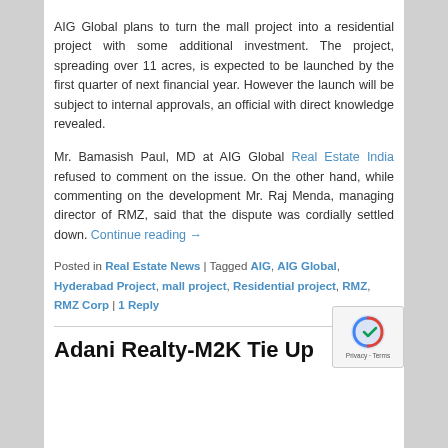AIG Global plans to turn the mall project into a residential project with some additional investment. The project, spreading over 11 acres, is expected to be launched by the first quarter of next financial year. However the launch will be subject to internal approvals, an official with direct knowledge revealed.
Mr. Bamasish Paul, MD at AIG Global Real Estate India refused to comment on the issue. On the other hand, while commenting on the development Mr. Raj Menda, managing director of RMZ, said that the dispute was cordially settled down. Continue reading →
Posted in Real Estate News | Tagged AIG, AIG Global, Hyderabad Project, mall project, Residential project, RMZ, RMZ Corp | 1 Reply
Adani Realty-M2K Tie Up